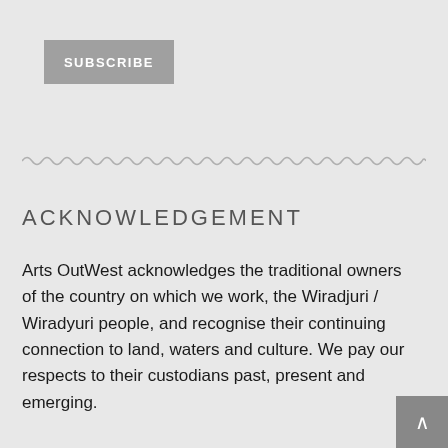SUBSCRIBE
[Figure (other): Wavy decorative line divider]
ACKNOWLEDGEMENT
Arts OutWest acknowledges the traditional owners of the country on which we work, the Wiradjuri / Wiradyuri people, and recognise their continuing connection to land, waters and culture. We pay our respects to their custodians past, present and emerging.